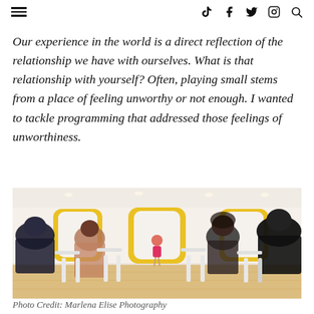≡ [tiktok] [facebook] [twitter] [instagram] [search]
Our experience in the world is a direct reflection of the relationship we have with ourselves. What is that relationship with yourself? Often, playing small stems from a place of feeling unworthy or not enough. I wanted to tackle programming that addressed those feelings of unworthiness.
[Figure (photo): Audience seated in white chairs viewing a speaker in a pink outfit at the front of a bright room with yellow arch mirrors]
Photo Credit: Marlena Elise Photography